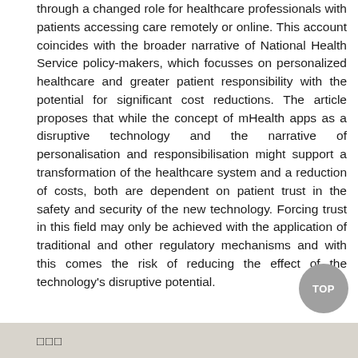through a changed role for healthcare professionals with patients accessing care remotely or online. This account coincides with the broader narrative of National Health Service policy-makers, which focusses on personalized healthcare and greater patient responsibility with the potential for significant cost reductions. The article proposes that while the concept of mHealth apps as a disruptive technology and the narrative of personalisation and responsibilisation might support a transformation of the healthcare system and a reduction of costs, both are dependent on patient trust in the safety and security of the new technology. Forcing trust in this field may only be achieved with the application of traditional and other regulatory mechanisms and with this comes the risk of reducing the effect of the technology's disruptive potential.
□□□